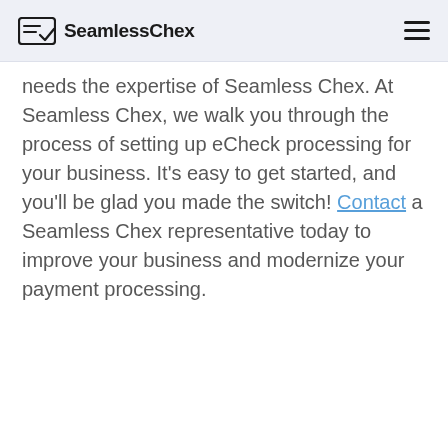SeamlessChex
needs the expertise of Seamless Chex. At Seamless Chex, we walk you through the process of setting up eCheck processing for your business. It’s easy to get started, and you’ll be glad you made the switch! Contact a Seamless Chex representative today to improve your business and modernize your payment processing.